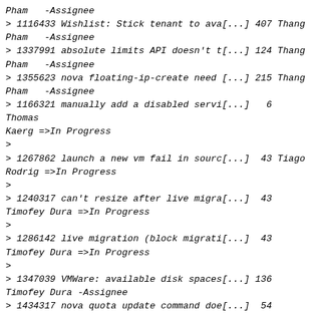Pham   -Assignee
> 1116433 Wishlist: Stick tenant to ava[...] 407 Thang Pham   -Assignee
> 1337991 absolute limits API doesn't t[...] 124 Thang Pham   -Assignee
> 1355623 nova floating-ip-create need [...] 215 Thang Pham   -Assignee
> 1166321 manually add a disabled servi[...]   6 Thomas Kaerg =>In Progress
>
> 1267862 launch a new vm fail in sourc[...]  43 Tiago Rodrig =>In Progress
>
> 1240317 can't resize after live migra[...]  43 Timofey Dura =>In Progress
>
> 1286142 live migration (block migrati[...]  43 Timofey Dura =>In Progress
>
> 1347039 VMWare: available disk spaces[...] 136 Timofey Dura -Assignee
> 1434317 nova quota update command doe[...]  54 Tomofumi Nog =>In Progress
>
> 1447675 directory listing of the serv[...]  21 Tony Breeds  =>In Progress
>
>   832507 console.log grows indefinitely    105 Tony Breeds -Assignee
>    Patch Set: [5873] (0 0 1 0) (G:0 W:None)